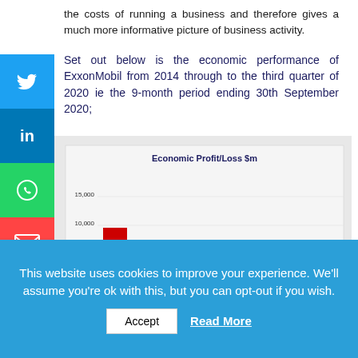the costs of running a business and therefore gives a much more informative picture of business activity.
Set out below is the economic performance of ExxonMobil from 2014 through to the third quarter of 2020 ie the 9-month period ending 30th September 2020;
[Figure (bar-chart): Economic Profit/Loss $m]
This website uses cookies to improve your experience. We'll assume you're ok with this, but you can opt-out if you wish.